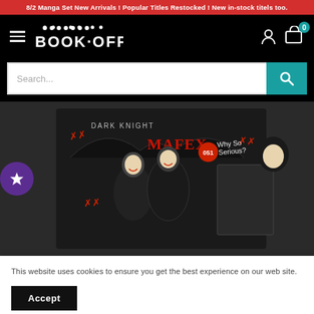8/2 Manga Set New Arrivals ! Popular Titles Restocked ! New in-stock titels too.
[Figure (logo): Book-Off logo on black navigation header with hamburger menu, user icon, and cart icon with 0 badge]
[Figure (screenshot): Search bar with placeholder text 'Search...' and teal search button with magnifying glass icon]
[Figure (photo): MAFEX No.051 Dark Knight figure set product photo showing Joker action figures in packaging with red graffiti design, 'Why So Serious?' text]
This website uses cookies to ensure you get the best experience on our web site.